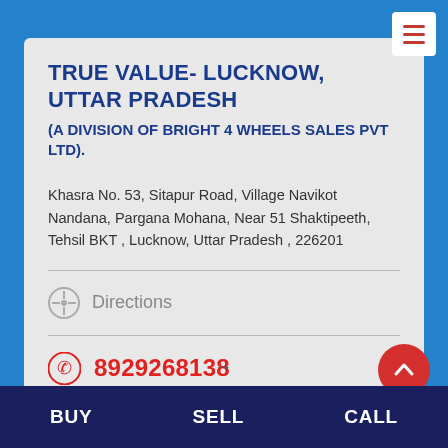TRUE VALUE- LUCKNOW, UTTAR PRADESH
(A DIVISION OF BRIGHT 4 WHEELS SALES PVT LTD).
Khasra No. 53, Sitapur Road, Village Navikot Nandana, Pargana Mohana, Near 51 Shaktipeeth, Tehsil BKT , Lucknow, Uttar Pradesh , 226201
Directions
8929268138
BUY    SELL    CALL